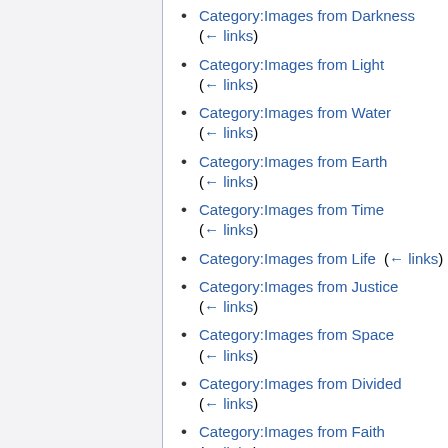Category:Images from Darkness  (← links)
Category:Images from Light  (← links)
Category:Images from Water  (← links)
Category:Images from Earth  (← links)
Category:Images from Time  (← links)
Category:Images from Life  (← links)
Category:Images from Justice  (← links)
Category:Images from Space  (← links)
Category:Images from Divided  (← links)
Category:Images from Faith  (← links)
Category:Images from Human  (←